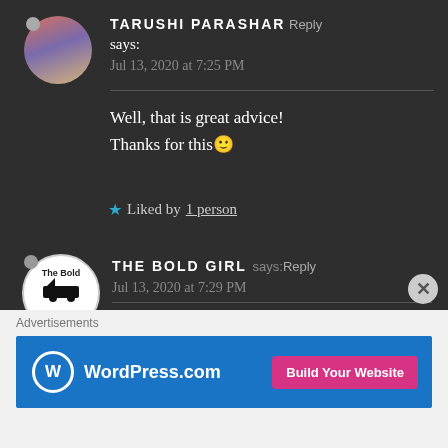TARUSHI PARASHAR says: Reply
Jul 13, 2020 at 7:25 PM
Well, that is great advice!
Thanks for this 🙂
★ Liked by 1 person
THE BOLD GIRL says: Reply
Jul 13, 2020 at 7:29 PM
Glad you took it positively.😊
Advertisements
[Figure (screenshot): WordPress.com advertisement banner with 'Build Your Website' button]